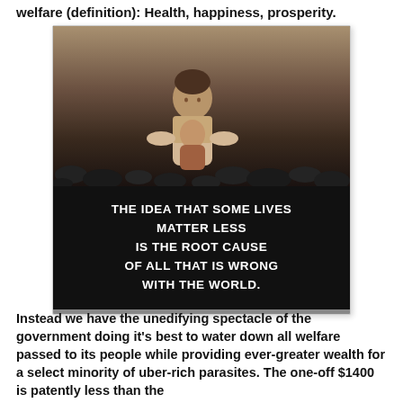welfare (definition): Health, happiness, prosperity.
[Figure (photo): A child holding a younger child on a rocky landscape, with overlaid text: THE IDEA THAT SOME LIVES MATTER LESS IS THE ROOT CAUSE OF ALL THAT IS WRONG WITH THE WORLD.]
Instead we have the unedifying spectacle of the government doing it's best to water down all welfare passed to its people while providing ever-greater wealth for a select minority of uber-rich parasites. The one-off $1400 is patently less than the